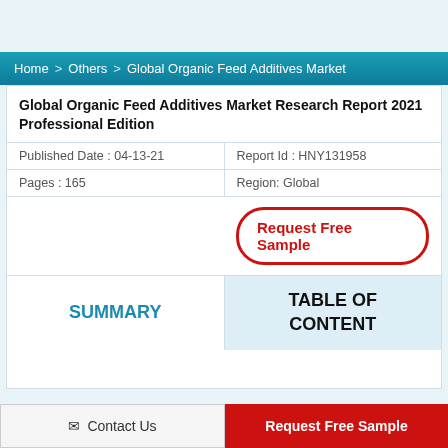Home > Others > Global Organic Feed Additives Market
Global Organic Feed Additives Market Research Report 2021 Professional Edition
| Published Date : 04-13-21 | Report Id : HNY131958 |
| Pages : 165 | Region: Global |
[Figure (other): Request Free Sample button with red rounded border outline]
SUMMARY
TABLE OF CONTENT
Contact Us
Request Free Sample